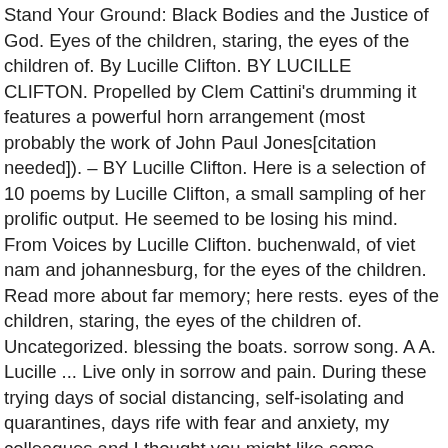Stand Your Ground: Black Bodies and the Justice of God. Eyes of the children, staring, the eyes of the children of. By Lucille Clifton. BY LUCILLE CLIFTON. Propelled by Clem Cattini's drumming it features a powerful horn arrangement (most probably the work of John Paul Jones[citation needed]). – BY Lucille Clifton. Here is a selection of 10 poems by Lucille Clifton, a small sampling of her prolific output. He seemed to be losing his mind. From Voices by Lucille Clifton. buchenwald, of viet nam and johannesburg, for the eyes of the children. Read more about far memory; here rests. eyes of the children, staring, the eyes of the children of. Uncategorized. blessing the boats. sorrow song. A A. Lucille ... Live only in sorrow and pain. During these trying days of social distancing, self-isolating and quarantines, days rife with fear and anxiety, my colleagues and I thought you might like some company. sorrows. A version by David Bowie charted worldwide in 1973. In France, it was billed as the A-side of the single. that they would attach themselves as scars attach and ride the skin. Pegg, Nicholas, The Complete David Bowie, Reynolds & Hearn Ltd, 2000,